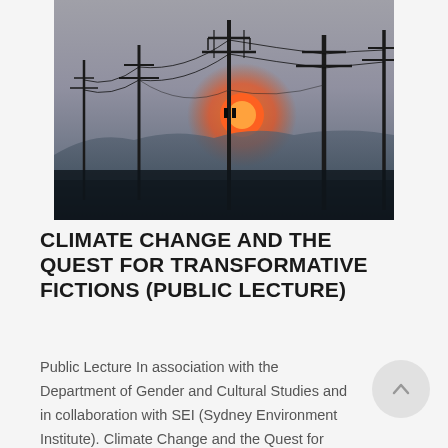[Figure (photo): Photograph of electricity pylons/power poles with wires silhouetted against a hazy orange-red sunset sky, moody atmospheric scene]
CLIMATE CHANGE AND THE QUEST FOR TRANSFORMATIVE FICTIONS (PUBLIC LECTURE)
Public Lecture In association with the Department of Gender and Cultural Studies and in collaboration with SEI (Sydney Environment Institute). Climate Change and the Quest for